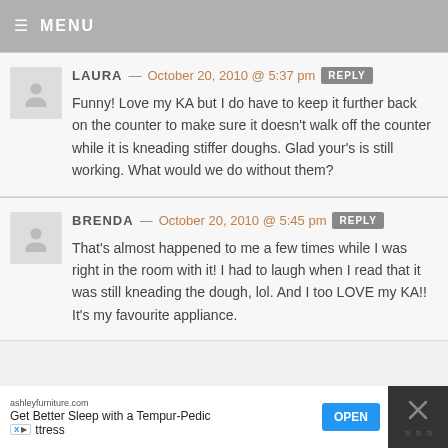MENU
LAURA — October 20, 2010 @ 5:37 pm REPLY
Funny! Love my KA but I do have to keep it further back on the counter to make sure it doesn't walk off the counter while it is kneading stiffer doughs. Glad your's is still working. What would we do without them?
BRENDA — October 20, 2010 @ 5:45 pm REPLY
That's almost happened to me a few times while I was right in the room with it! I had to laugh when I read that it was still kneading the dough, lol. And I too LOVE my KA!! It's my favourite appliance.
[Figure (screenshot): Advertisement banner: ashleyfurniture.com - Get Better Sleep with a Tempur-Pedic Mattress with OPEN button]